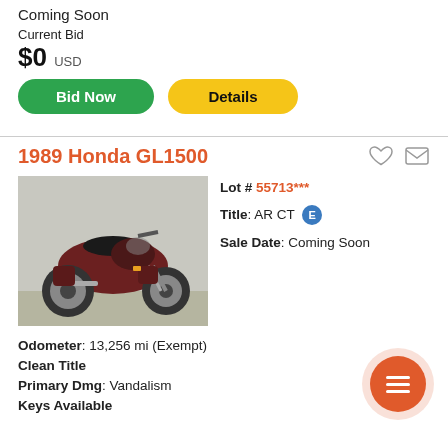Coming Soon
Current Bid
$0 USD
Bid Now
Details
1989 Honda GL1500
[Figure (photo): Photo of a 1989 Honda GL1500 motorcycle parked on gravel, dark red/maroon color, side view]
Lot # 55713***
Title: AR CT E
Sale Date: Coming Soon
Odometer: 13,256 mi (Exempt)
Clean Title
Primary Dmg: Vandalism
Keys Available